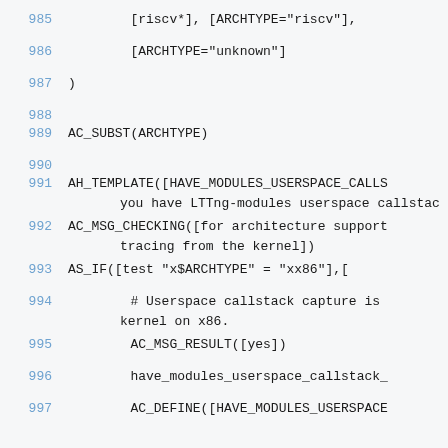985    [riscv*], [ARCHTYPE="riscv"],
986    [ARCHTYPE="unknown"]
987 )
988
989 AC_SUBST(ARCHTYPE)
990
991 AH_TEMPLATE([HAVE_MODULES_USERSPACE_CALLS you have LTTng-modules userspace callstac
992 AC_MSG_CHECKING([for architecture support tracing from the kernel])
993 AS_IF([test "x$ARCHTYPE" = "xx86"],[
994         # Userspace callstack capture is kernel on x86.
995         AC_MSG_RESULT([yes])
996         have_modules_userspace_callstack_
997         AC_DEFINE([HAVE_MODULES_USERSPACE